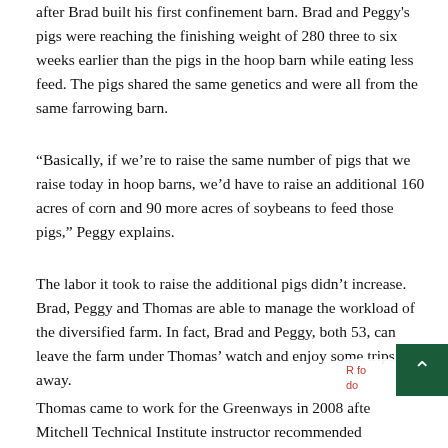after Brad built his first confinement barn. Brad and Peggy's pigs were reaching the finishing weight of 280 three to six weeks earlier than the pigs in the hoop barn while eating less feed. The pigs shared the same genetics and were all from the same farrowing barn.
“Basically, if we’re to raise the same number of pigs that we raise today in hoop barns, we’d have to raise an additional 160 acres of corn and 90 more acres of soybeans to feed those pigs,” Peggy explains.
The labor it took to raise the additional pigs didn’t increase. Brad, Peggy and Thomas are able to manage the workload of the diversified farm. In fact, Brad and Peggy, both 53, can leave the farm under Thomas’ watch and enjoy some trips away.
Thomas came to work for the Greenways in 2008 after a Mitchell Technical Institute instructor recommended him...